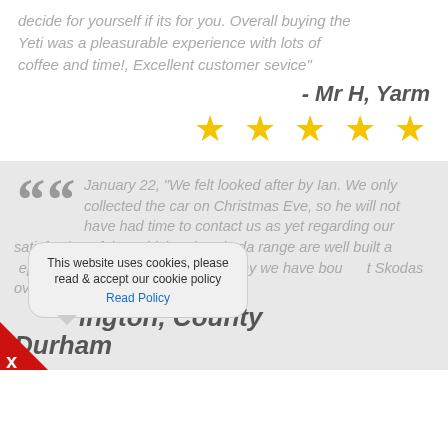decide for yourself if its for you. Overall buying the Yeti was a pleasurable experience with lots of coffee and time!, Excellent customer sevice"
- Mr H, Yarm
[Figure (other): Five gold star rating]
January 22, "We felt looked after by Ian. We only collected the car on Christmas Eve, so he will not have had time to contact us as yet regarding our satisfaction of the vehicle. The Skoda range are well built and represent value for money, this is why we have bought Skodas over the years."
...ington, County Durham
This website uses cookies, please read & accept our cookie policy Read Policy